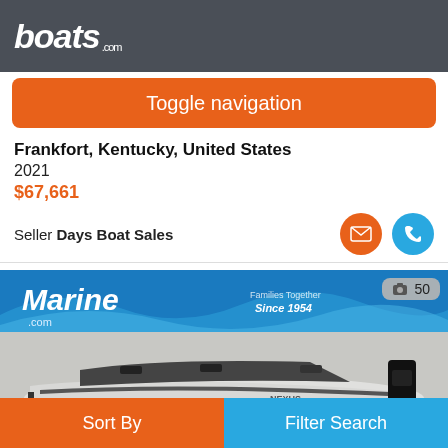boats.com
Toggle navigation
Frankfort, Kentucky, United States
2021
$67,661
Seller Days Boat Sales
[Figure (photo): Photo of a 2021 bass boat (Nexus brand) on a trailer inside a showroom with a Marine.com banner in the background reading 'Since 1954'. A camera icon badge shows '50' photos.]
Sort By   Filter Search